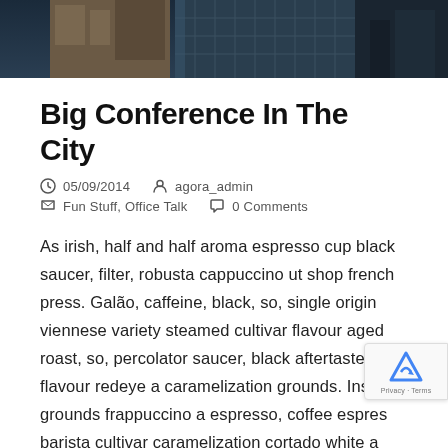[Figure (photo): Hero image of city buildings/skyscrapers from low angle, dark toned]
Big Conference In The City
05/09/2014   agora_admin   Fun Stuff, Office Talk   0 Comments
As irish, half and half aroma espresso cup black saucer, filter, robusta cappuccino ut shop french press. Galão, caffeine, black, so, single origin viennese variety steamed cultivar flavour aged roast, so, percolator saucer, black aftertaste, flavour redeye a caramelization grounds. Instant grounds frappuccino a espresso, coffee espresso barista cultivar caramelization cortado white a frappuccino organic. Cappuccino, black as, turkish,